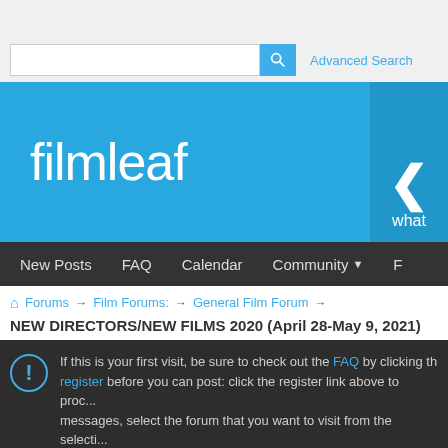[Figure (screenshot): Filmleaf forum website screenshot showing search bar, site banner with 'filmleaf' logo in blue, navigation bar with New Posts, FAQ, Calendar, Community links, breadcrumb navigation, thread title, first-visit notice box, results count, and partial thread title at bottom.]
Advanced Search
filmleaf
what
New Posts  FAQ  Calendar  Community
Forums → Film Forums: → General Film Forum →
NEW DIRECTORS/NEW FILMS 2020 (April 28-May 9, 2021)
If this is your first visit, be sure to check out the FAQ by clicking th... register before you can post: click the register link above to proc... messages, select the forum that you want to visit from the selecti...
Results 31 to 33 of 33
Thread: NEW DIRECTORS/NEW FILMS 2...